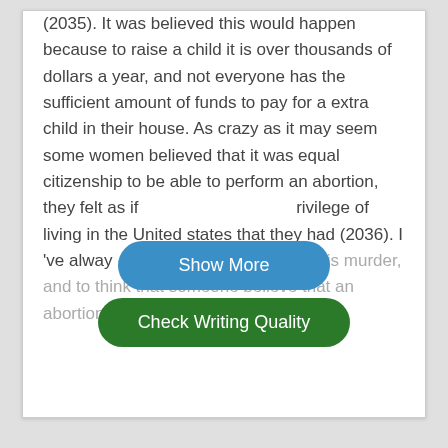(2035). It was believed this would happen because to raise a child it is over thousands of dollars a year, and not everyone has the sufficient amount of funds to pay for a extra child in their house. As crazy as it may seem some women believed that it was equal citizenship to be able to perform an abortion, they felt as if [Show More] rivilege of living in the United states that they had (2036). I 've alway [Check Writing Quality] bortion is murder, and to think that someone believe that an abortion is